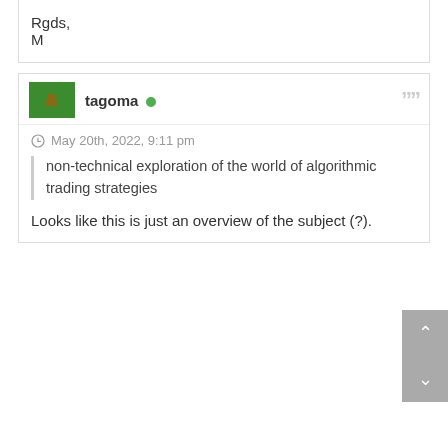Rgds,
M
tagoma
May 20th, 2022, 9:11 pm
non-technical exploration of the world of algorithmic trading strategies
Looks like this is just an overview of the subject (?).